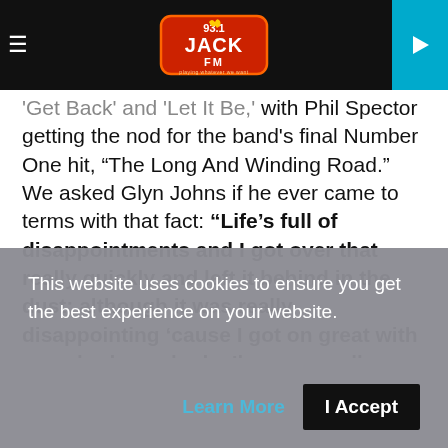93.1 JACK FM
'Get Back' and 'Let It Be,' with Phil Spector getting the nod for the band's final Number One hit, “The Long And Winding Road.” We asked Glyn Johns if he ever came to terms with that fact: “Life’s full of disappointments and I got over that really quickly and left it behind in the dust; although it was really disappointing ‘cause I got on great with everybody, we had, y’know, a really good working relationship, I thought. Things don’t always work
This website uses cookies to ensure you get the best experience on your website.